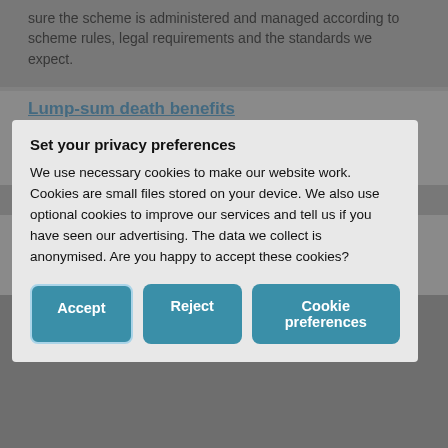sure the scheme is administered and managed according to scheme rules, legal requirements and the standards we expect.
Lump-sum death benefits
When benefits are paid on the death of a separate scheme that only provides these benefits.
Set your privacy preferences
We use necessary cookies to make our website work. Cookies are small files stored on your device. We also use optional cookies to improve our services and tell us if you have seen our advertising. The data we collect is anonymised. Are you happy to accept these cookies?
Member-nominated trustees and members nominated
▲ Back to top